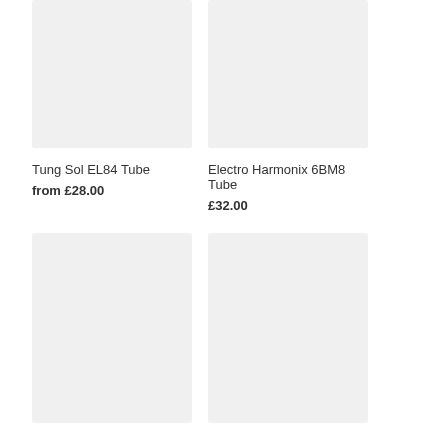[Figure (photo): Product image placeholder for Tung Sol EL84 Tube - light grey rectangle]
Tung Sol EL84 Tube
from £28.00
[Figure (photo): Product image placeholder for Electro Harmonix 6BM8 Tube - light grey rectangle]
Electro Harmonix 6BM8 Tube
£32.00
[Figure (photo): Product image placeholder - light grey rectangle, bottom left]
[Figure (photo): Product image placeholder - light grey rectangle, bottom right]